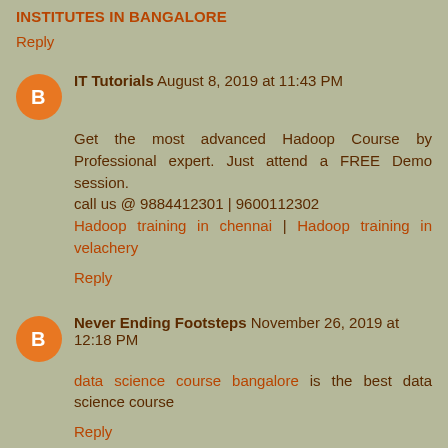INSTITUTES IN BANGALORE
Reply
IT Tutorials  August 8, 2019 at 11:43 PM
Get the most advanced Hadoop Course by Professional expert. Just attend a FREE Demo session.
call us @ 9884412301 | 9600112302
Hadoop training in chennai | Hadoop training in velachery
Reply
Never Ending Footsteps  November 26, 2019 at 12:18 PM
data science course bangalore is the best data science course
Reply